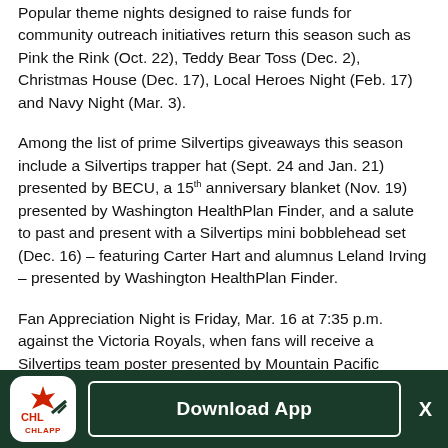Popular theme nights designed to raise funds for community outreach initiatives return this season such as Pink the Rink (Oct. 22), Teddy Bear Toss (Dec. 2), Christmas House (Dec. 17), Local Heroes Night (Feb. 17) and Navy Night (Mar. 3).
Among the list of prime Silvertips giveaways this season include a Silvertips trapper hat (Sept. 24 and Jan. 21) presented by BECU, a 15th anniversary blanket (Nov. 19) presented by Washington HealthPlan Finder, and a salute to past and present with a Silvertips mini bobblehead set (Dec. 16) – featuring Carter Hart and alumnus Leland Irving – presented by Washington HealthPlan Finder.
Fan Appreciation Night is Friday, Mar. 16 at 7:35 p.m. against the Victoria Royals, when fans will receive a Silvertips team poster presented by Mountain Pacific...
[Figure (other): CHL App download banner with app icon (CHL logo, CHLAPP text), a Download App button with white border, and a close X button, all on a dark green background.]